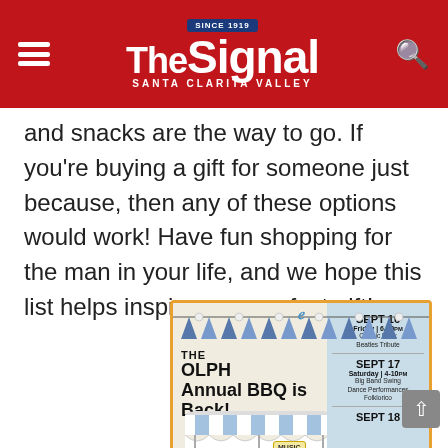The Signal — Santa Clarita Valley
and snacks are the way to go. If you're buying a gift for someone just because, then any of these options would work! Have fun shopping for the man in your life, and we hope this list helps inspire your perfect gift!
[Figure (illustration): Advertisement for THE OLPH Annual BBQ is Back! with banners, an awning, signs for FOOD, GAMES & PRIZES, MUSIC, DANCE PERFORMANCES, RAFFLE, and a schedule panel showing SEPT 16 Friday 6-10pm Classic Rock Beatles Tribute, SEPT 17 Saturday 4-10pm Big Band Swing Dance Performances Folklorico, SEPT 18 (partial)]